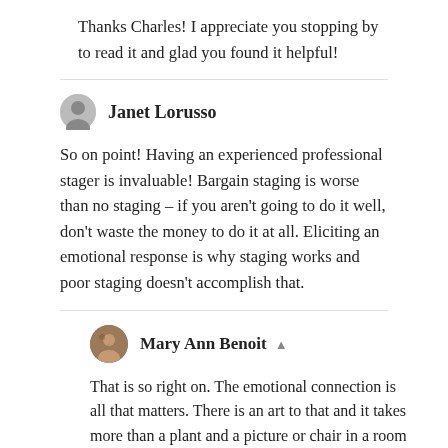Thanks Charles! I appreciate you stopping by to read it and glad you found it helpful!
Janet Lorusso
So on point! Having an experienced professional stager is invaluable! Bargain staging is worse than no staging – if you aren't going to do it well, don't waste the money to do it at all. Eliciting an emotional response is why staging works and poor staging doesn't accomplish that.
Mary Ann Benoit
That is so right on. The emotional connection is all that matters. There is an art to that and it takes more than a plant and a picture or chair in a room